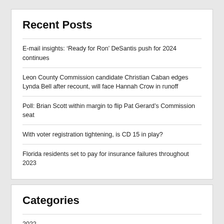Recent Posts
E-mail insights: ‘Ready for Ron’ DeSantis push for 2024 continues
Leon County Commission candidate Christian Caban edges Lynda Bell after recount, will face Hannah Crow in runoff
Poll: Brian Scott within margin to flip Pat Gerard’s Commission seat
With voter registration tightening, is CD 15 in play?
Florida residents set to pay for insurance failures throughout 2023
Categories
2022
2022 – Congressional